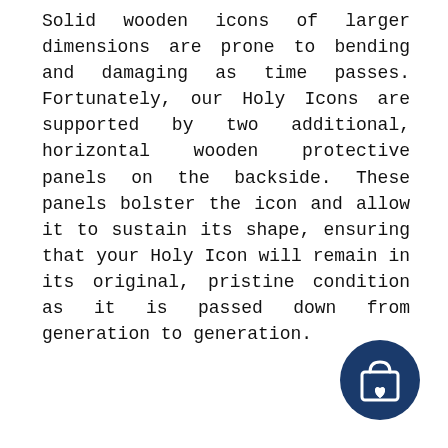Solid wooden icons of larger dimensions are prone to bending and damaging as time passes. Fortunately, our Holy Icons are supported by two additional, horizontal wooden protective panels on the backside. These panels bolster the icon and allow it to sustain its shape, ensuring that your Holy Icon will remain in its original, pristine condition as it is passed down from generation to generation.
[Figure (illustration): Dark navy blue circular button with a shopping bag icon featuring a small heart symbol at the bottom right of the bag]